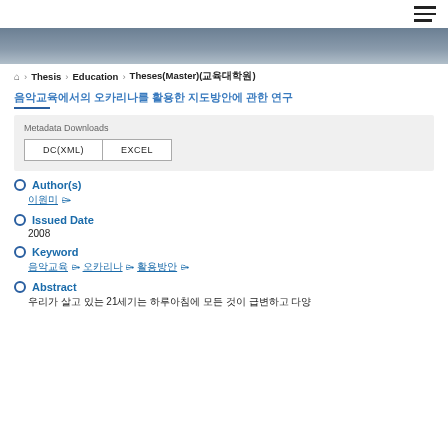☰ (hamburger menu icon)
[Figure (photo): Gray/blue banner image at top of page]
🏠 > Thesis > Education > Theses(Master)(교육대학원)
음악교육에서의 오카리나를 활용한 지도방안에 관한 연구
Metadata Downloads
DC(XML)   EXCEL
Author(s)
이원미
Issued Date
2008
Keyword
음악교육 오카리나 활용방안
Abstract
우리가 살고 있는 21세기는 하루아침에 모든 것이 급변하고 다양